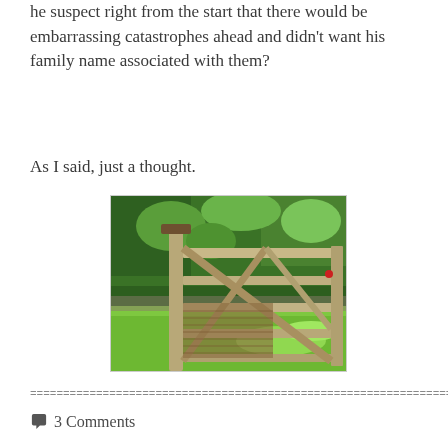he suspect right from the start that there would be embarrassing catastrophes ahead and didn't want his family name associated with them?
As I said, just a thought.
[Figure (photo): A wooden five-bar farm gate in front of lush green hedgerow and grass lawn, photographed in bright daylight.]
================================================================
3 Comments